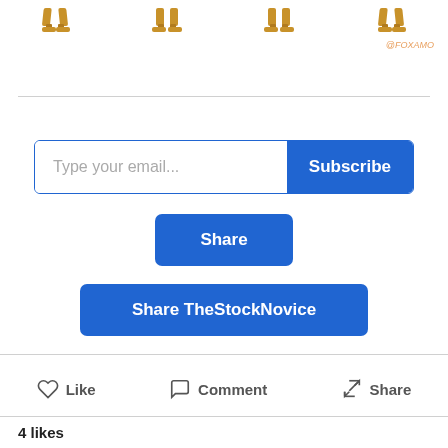[Figure (illustration): Four pairs of decorative golden leg/boot icons arranged in a row at the top of the page, with '@FOXAMO' watermark in orange italic text at the top right]
[Figure (screenshot): Email subscription input box with placeholder text 'Type your email...' and a blue 'Subscribe' button on the right]
[Figure (screenshot): Blue 'Share' button centered on the page]
[Figure (screenshot): Blue 'Share TheStockNovice' button centered on the page]
Like   Comment   Share
4 likes